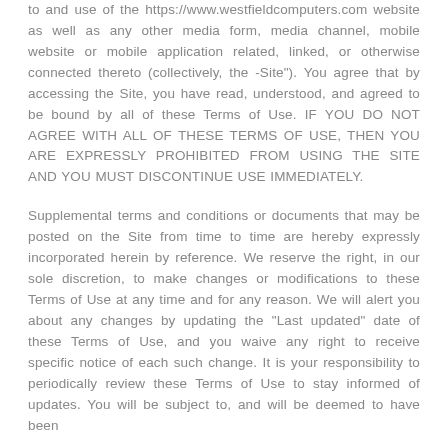to and use of the https://www.westfieldcomputers.com website as well as any other media form, media channel, mobile website or mobile application related, linked, or otherwise connected thereto (collectively, the -Site"). You agree that by accessing the Site, you have read, understood, and agreed to be bound by all of these Terms of Use. IF YOU DO NOT AGREE WITH ALL OF THESE TERMS OF USE, THEN YOU ARE EXPRESSLY PROHIBITED FROM USING THE SITE AND YOU MUST DISCONTINUE USE IMMEDIATELY.
Supplemental terms and conditions or documents that may be posted on the Site from time to time are hereby expressly incorporated herein by reference. We reserve the right, in our sole discretion, to make changes or modifications to these Terms of Use at any time and for any reason. We will alert you about any changes by updating the "Last updated" date of these Terms of Use, and you waive any right to receive specific notice of each such change. It is your responsibility to periodically review these Terms of Use to stay informed of updates. You will be subject to, and will be deemed to have been